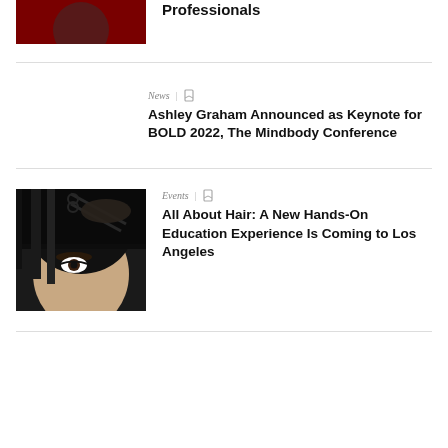[Figure (photo): Partial image of two people, dark background with red tones, partially cropped at top]
Professionals
[Figure (photo): No image for this article listing]
News  |
Ashley Graham Announced as Keynote for BOLD 2022, The Mindbody Conference
[Figure (photo): Close-up photo of a woman with dark straight hair being cut with scissors]
Events  |
All About Hair: A New Hands-On Education Experience Is Coming to Los Angeles